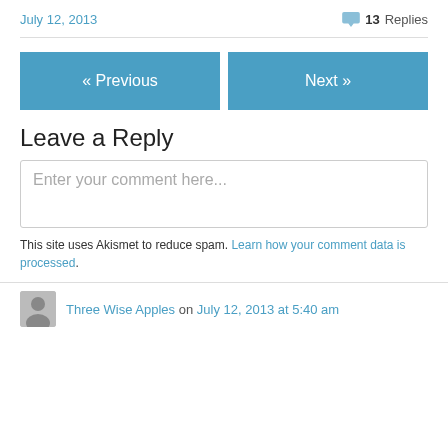July 12, 2013   13 Replies
« Previous
Next »
Leave a Reply
Enter your comment here...
This site uses Akismet to reduce spam. Learn how your comment data is processed.
Three Wise Apples on July 12, 2013 at 5:40 am